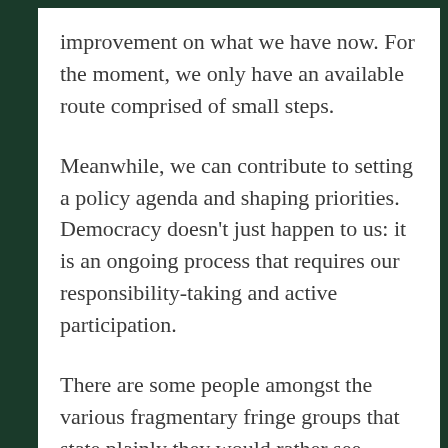improvement on what we have now. For the moment, we only have an available route comprised of small steps.
Meanwhile, we can contribute to setting a policy agenda and shaping priorities. Democracy doesn’t just happen to us: it is an ongoing process that requires our responsibility-taking and active participation.
There are some people amongst the various fragmentary fringe groups that state plainly they would rather see another Tory government than see the Labour